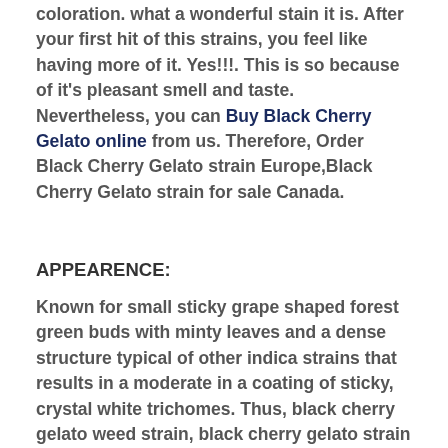coloration. what a wonderful stain it is. After your first hit of this strains, you feel like having more of it. Yes!!!. This is so because of it's pleasant smell and taste. Nevertheless, you can Buy Black Cherry Gelato online from us. Therefore, Order Black Cherry Gelato strain Europe,Black Cherry Gelato strain for sale Canada.
APPEARENCE:
Known for small sticky grape shaped forest green buds with minty leaves and a dense structure typical of other indica strains that results in a moderate in a coating of sticky, crystal white trichomes. Thus, black cherry gelato weed strain, black cherry gelato strain seeds, black cherry gelato, black gelato strain review.